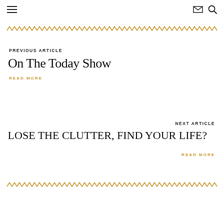≡  ✉ 🔍
[Figure (illustration): Decorative gold zigzag/chevron border pattern running horizontally across the page]
PREVIOUS ARTICLE
On The Today Show
READ MORE
NEXT ARTICLE
LOSE THE CLUTTER, FIND YOUR LIFE?
READ MORE
[Figure (illustration): Decorative gold zigzag/chevron border pattern running horizontally across the page]